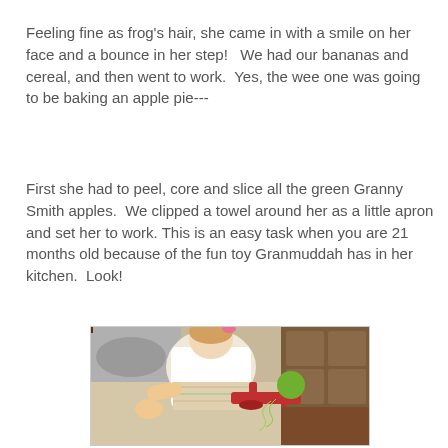Feeling fine as frog's hair, she came in with a smile on her face and a bounce in her step!   We had our bananas and cereal, and then went to work.  Yes, the wee one was going to be baking an apple pie---
First she had to peel, core and slice all the green Granny Smith apples.  We clipped a towel around her as a little apron and set her to work. This is an easy task when you are 21 months old because of the fun toy Granmuddah has in her kitchen.  Look!
[Figure (photo): A toddler girl with a pink bow in her hair, wearing a white shirt and striped skirt, using a red apple peeler/corer machine on a kitchen counter with a green apple mounted on it and apple peel curling out. Kitchen background with brown cabinets and a mat visible.]